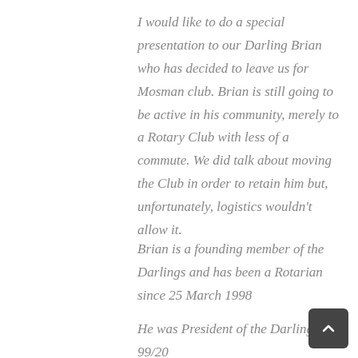I would like to do a special presentation to our Darling Brian who has decided to leave us for Mosman club. Brian is still going to be active in his community, merely to a Rotary Club with less of a commute. We did talk about moving the Club in order to retain him but, unfortunately, logistics wouldn't allow it.
Brian is a founding member of the Darlings and has been a Rotarian since 25 March 1998
He was President of the Darlings 99/2000, 2010/11 and has been on the board since